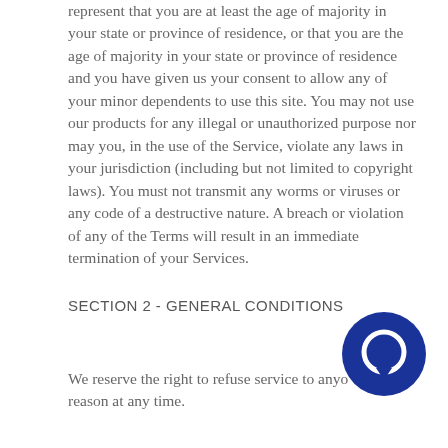represent that you are at least the age of majority in your state or province of residence, or that you are the age of majority in your state or province of residence and you have given us your consent to allow any of your minor dependents to use this site. You may not use our products for any illegal or unauthorized purpose nor may you, in the use of the Service, violate any laws in your jurisdiction (including but not limited to copyright laws). You must not transmit any worms or viruses or any code of a destructive nature. A breach or violation of any of the Terms will result in an immediate termination of your Services.
SECTION 2 - GENERAL CONDITIONS
We reserve the right to refuse service to anyone for any reason at any time.